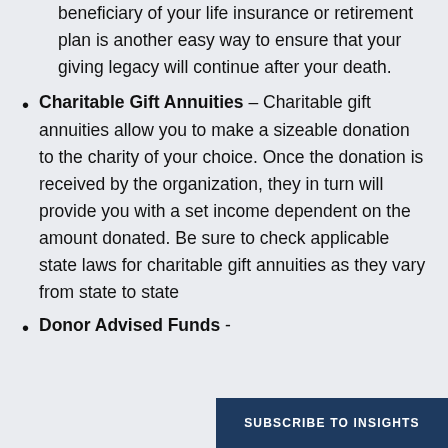beneficiary of your life insurance or retirement plan is another easy way to ensure that your giving legacy will continue after your death.
Charitable Gift Annuities – Charitable gift annuities allow you to make a sizeable donation to the charity of your choice. Once the donation is received by the organization, they in turn will provide you with a set income dependent on the amount donated. Be sure to check applicable state laws for charitable gift annuities as they vary from state to state
Donor Advised Funds -
SUBSCRIBE TO INSIGHTS